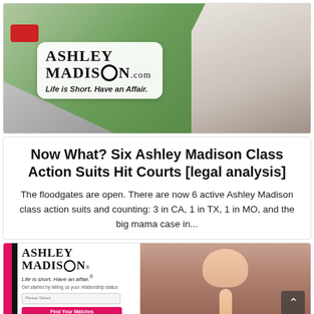[Figure (photo): Ashley Madison advertisement showing a bride in a white dress with the Ashley Madison logo sign. Sign reads 'ASHLEY MADISON.com Life is Short. Have an Affair.']
Now What? Six Ashley Madison Class Action Suits Hit Courts [legal analysis]
The floodgates are open. There are now 6 active Ashley Madison class action suits and counting: 3 in CA, 1 in TX, 1 in MO, and the big mama case in...
[Figure (screenshot): Ashley Madison website screenshot showing logo, tagline 'Life is short. Have an affair.®', and a 'Please Select' dropdown input, alongside an image of a woman with finger to lips in a shushing gesture.]